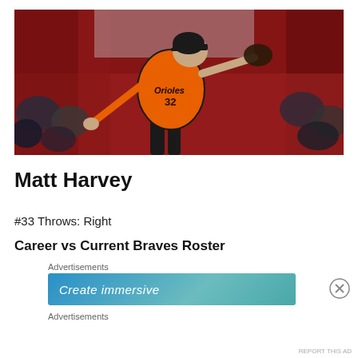[Figure (photo): Baseball pitcher wearing orange Baltimore Orioles jersey number 32, mid-pitch motion, with crowd in background]
Matt Harvey
#33 Throws: Right
Career vs Current Braves Roster
Advertisements
[Figure (other): Advertisement banner with text 'Create immersive' on a blue/teal gradient background]
Advertisements